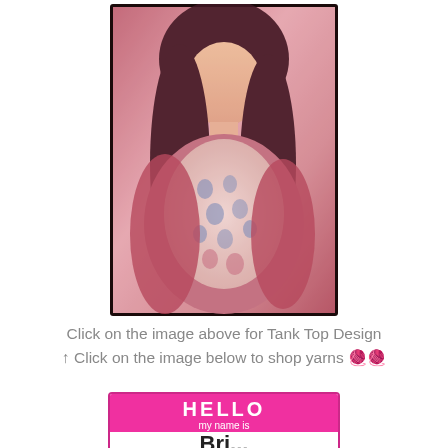[Figure (photo): A young woman with long dark hair wearing a white crochet/lace tank top over what appears to be a purple/blue top, with a pink/red cardigan. The photo has a warm, vintage Instagram-style filter with pink-red tones.]
Click on the image above for Tank Top Design ↑ Click on the image below to shop yarns 🧶🧶
[Figure (illustration): A pink 'Hello My Name Is' name tag badge, partially visible at the bottom of the page, with white text saying HELLO and 'my name is' below it, with a white area at the bottom where a name would be written.]